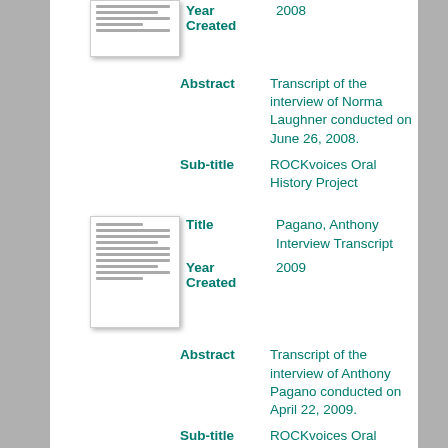[Figure (thumbnail): Thumbnail of document page (partially visible at top)]
Year Created: 2008
Abstract: Transcript of the interview of Norma Laughner conducted on June 26, 2008.
Sub-title: ROCKvoices Oral History Project
[Figure (thumbnail): Thumbnail of Pagano Anthony Interview Transcript document]
Title: Pagano, Anthony Interview Transcript
Year Created: 2009
Abstract: Transcript of the interview of Anthony Pagano conducted on April 22, 2009.
Sub-title: ROCKvoices Oral History Project
[Figure (thumbnail): Thumbnail of Powell Walter Interview Transcript document]
Title: Powell, Walter Interview Transcript
Year: 2009